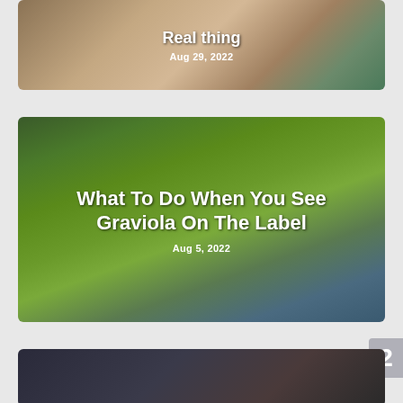[Figure (photo): Article card with beehive/honeycomb image in background showing wooden hive frames and a beekeeper]
Real thing
Aug 29, 2022
[Figure (photo): Article card with close-up photo of a green spiky graviola (soursop) fruit]
What To Do When You See Graviola On The Label
Aug 5, 2022
[Figure (photo): Partially visible article card with dark blurred background]